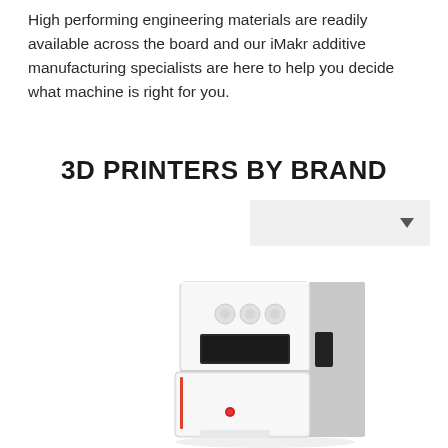High performing engineering materials are readily available across the board and our iMakr additive manufacturing specialists are here to help you decide what machine is right for you.
3D PRINTERS BY BRAND
[Figure (screenshot): Dropdown selector widget with light gray background and downward arrow]
[Figure (photo): White industrial 3D printer machine, tall cabinet-style with front panel controls and display screen, two-section body with red indicator light]